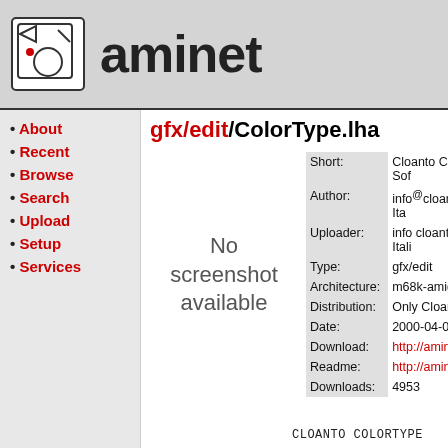aminet
gfx/edit/ColorType.lha
[Figure (other): No screenshot available placeholder text]
| Field | Value |
| --- | --- |
| Short: | Cloanto ColorType 3.1 Sof... |
| Author: | info@cloanto.it (Cloanto Ita... |
| Uploader: | info cloanto it (Cloanto Itali... |
| Type: | gfx/edit |
| Architecture: | m68k-amigaos |
| Distribution: | Only Cloanto, Aminet and ... |
| Date: | 2000-04-09 |
| Download: | http://aminet.net/gfx/edit/C... |
| Readme: | http://aminet.net/gfx/edit/C... |
| Downloads: | 4953 |
About
Recent
Browse
Search
Upload
Setup
Services
CLOANTO COLORTYPE